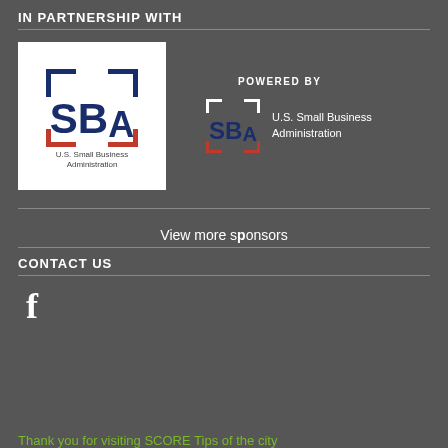IN PARTNERSHIP WITH
[Figure (logo): U.S. Small Business Administration (SBA) logo — large version in white box with dark blue SBA letters and bracket marks, red accent bracket, text 'U.S. Small Business Administration']
[Figure (logo): POWERED BY label and U.S. Small Business Administration (SBA) logo — small version with white bracket marks, dark blue SBA text, red accent, next to text 'U.S. Small Business Administration']
View more sponsors
CONTACT US
[Figure (logo): Facebook 'f' icon in white]
Thank you for visiting SCORE Tips of the city